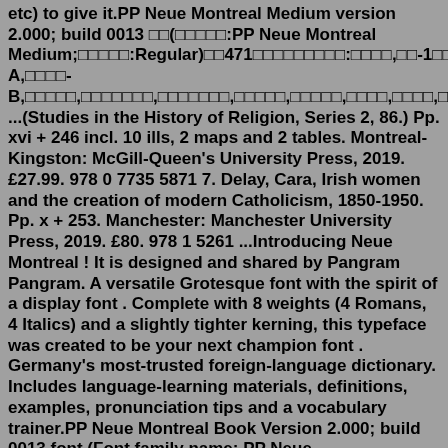etc) to give it.PP Neue Montreal Medium version 2.000; build 0013 □□(□□□□□:PP Neue Montreal Medium;□□□□□:Regular)□□471□□□□□□□□□:□□□□,□□-1□□,□□□□-A,□□□□-B,□□□□□,□□□□□□□,□□□□□□□,□□□□□,□□□□□,□□□□,□□□□,□□□□ ...(Studies in the History of Religion, Series 2, 86.) Pp. xvi + 246 incl. 10 ills, 2 maps and 2 tables. Montreal-Kingston: McGill-Queen's University Press, 2019. £27.99. 978 0 7735 5871 7. Delay, Cara, Irish women and the creation of modern Catholicism, 1850-1950. Pp. x + 253. Manchester: Manchester University Press, 2019. £80. 978 1 5261 ...Introducing Neue Montreal ! It is designed and shared by Pangram Pangram. A versatile Grotesque font with the spirit of a display font . Complete with 8 weights (4 Romans, 4 Italics) and a slightly tighter kerning, this typeface was created to be your next champion font . Germany's most-trusted foreign-language dictionary. Includes language-learning materials, definitions, examples, pronunciation tips and a vocabulary trainer.PP Neue Montreal Book Version 2.000; build 0013 font (Font family name: PP Neue